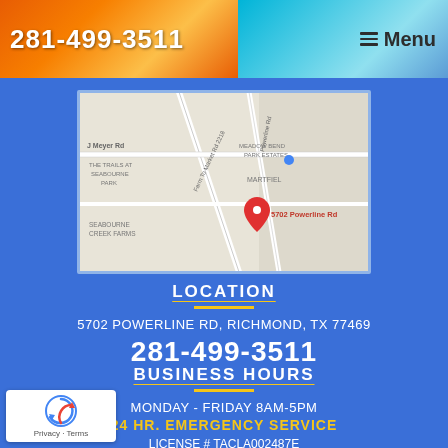281-499-3511
Menu
[Figure (map): Google Maps showing 5702 Powerline Rd location near Seabourne Creek Farms, Meadow Bend Park Estates area in Richmond TX. Red pin marker labeled 5702 Powerline Rd.]
LOCATION
5702 POWERLINE RD, RICHMOND, TX 77469
281-499-3511
BUSINESS HOURS
MONDAY - FRIDAY 8AM-5PM
24 HR. EMERGENCY SERVICE
LICENSE # TACLA002487E
[Figure (logo): Google reCAPTCHA badge with Privacy and Terms links]